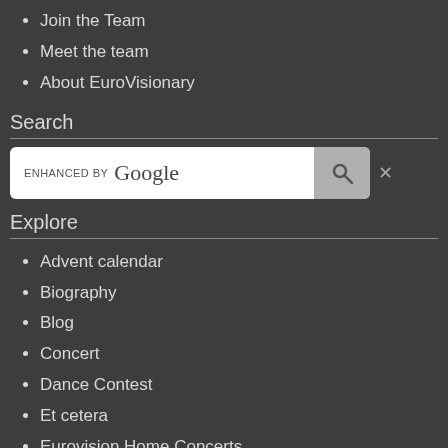Join the Team
Meet the team
About EuroVisionary
Search
[Figure (screenshot): Google enhanced search box with search icon button and close X]
Explore
Advent calendar
Biography
Blog
Concert
Dance Contest
Et cetera
Eurovision Home Concerts
Eurovision Song Contest
On the road to Italy
On the road to The Netherlands
Fanclubs